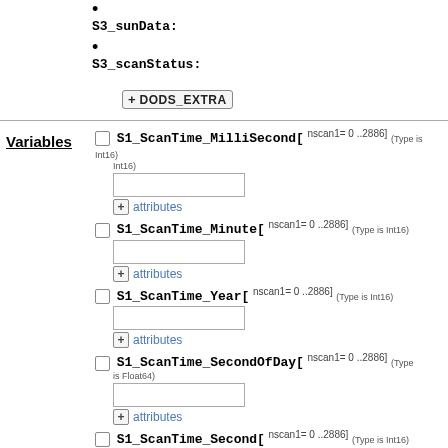S3_sunData:
S3_scanStatus:
+ DODS_EXTRA
Variables
S1_ScanTime_MilliSecond[ nscan1= 0 ..2886] (Type is Int16)
+ attributes
S1_ScanTime_Minute[ nscan1= 0 ..2886] (Type is Int16)
+ attributes
S1_ScanTime_Year[ nscan1= 0 ..2886] (Type is Int16)
+ attributes
S1_ScanTime_SecondOfDay[ nscan1= 0 ..2886] (Type is Float64)
+ attributes
S1_ScanTime_Second[ nscan1= 0 ..2886] (Type is Int16)
+ attributes